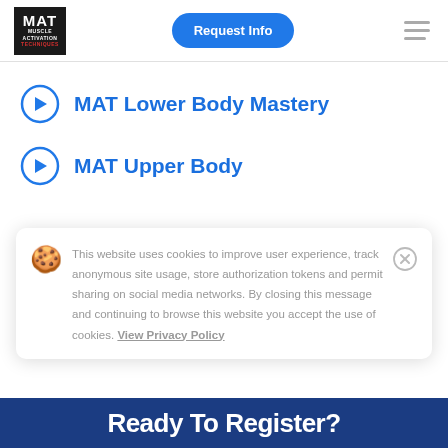[Figure (logo): MAT Muscle Activation Techniques logo — black background with white MAT text and red TECHNIQUES text]
Request Info
MAT Lower Body Mastery
MAT Upper Body
This website uses cookies to improve user experience, track anonymous site usage, store authorization tokens and permit sharing on social media networks. By closing this message and continuing to browse this website you accept the use of cookies. View Privacy Policy
Ready To Register?